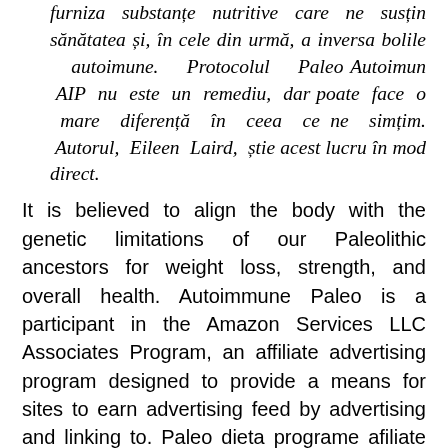furniza substanțe nutritive care ne susțin sănătatea și, în cele din urmă, a inversa bolile autoimune. Protocolul Paleo Autoimun AIP nu este un remediu, dar poate face o mare diferență în ceea ce ne simțim. Autorul, Eileen Laird, știe acest lucru în mod direct.
It is believed to align the body with the genetic limitations of our Paleolithic ancestors for weight loss, strength, and overall health. Autoimmune Paleo is a participant in the Amazon Services LLC Associates Program, an affiliate advertising program designed to provide a means for sites to earn advertising feed by advertising and linking to. Paleo dieta programe afiliate Find out what the Pegan diet is, the pros and cons, and how to do it with a 7-day Pegan meal plan to get you started. But the main goal of eating for leaky gut is to reduce gut inflammation by eating healthy